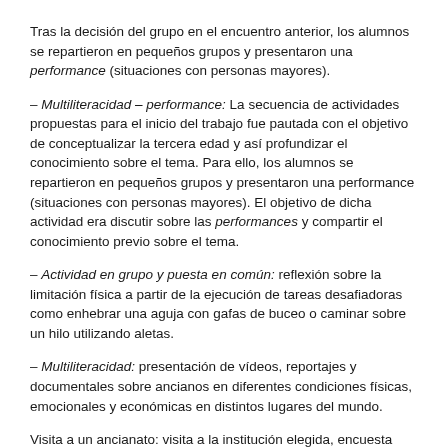Tras la decisión del grupo en el encuentro anterior, los alumnos se repartieron en pequeños grupos y presentaron una performance (situaciones con personas mayores).
– Multiliteracidad – performance: La secuencia de actividades propuestas para el inicio del trabajo fue pautada con el objetivo de conceptualizar la tercera edad y así profundizar el conocimiento sobre el tema. Para ello, los alumnos se repartieron en pequeños grupos y presentaron una performance (situaciones con personas mayores). El objetivo de dicha actividad era discutir sobre las performances y compartir el conocimiento previo sobre el tema.
– Actividad en grupo y puesta en común: reflexión sobre la limitación física a partir de la ejecución de tareas desafiadoras como enhebrar una aguja con gafas de buceo o caminar sobre un hilo utilizando aletas.
– Multiliteracidad: presentación de vídeos, reportajes y documentales sobre ancianos en diferentes condiciones físicas, emocionales y económicas en distintos lugares del mundo.
Visita a un ancianato: visita a la institución elegida, encuesta sobre las necesidades observadas en la institución y elaboración del plan de acción – actividad social